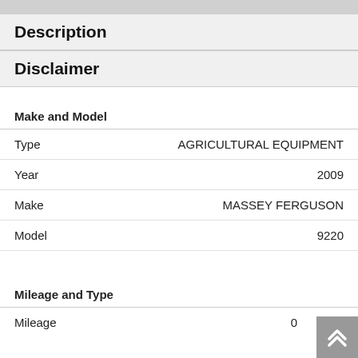Description
Disclaimer
Make and Model
| Field | Value |
| --- | --- |
| Type | AGRICULTURAL EQUIPMENT |
| Year | 2009 |
| Make | MASSEY FERGUSON |
| Model | 9220 |
Mileage and Type
| Field | Value |
| --- | --- |
| Mileage | 0 |